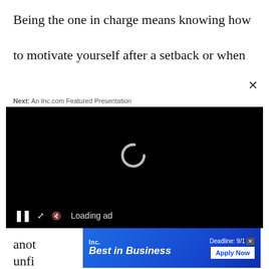Being the one in charge means knowing how to motivate yourself after a setback or when
Next: An Inc.com Featured Presentation
[Figure (screenshot): Black video player with a circular loading spinner in the center, and a control bar at the bottom with pause button, expand button, mute button, and 'Loading ad' text]
anot
unfi
[Figure (other): Inc. Best in Business advertisement banner with blue background, showing 'Inc. Best in Business' text on the left and 'Deadline: 9/1' with 'Apply Now' button on the right]